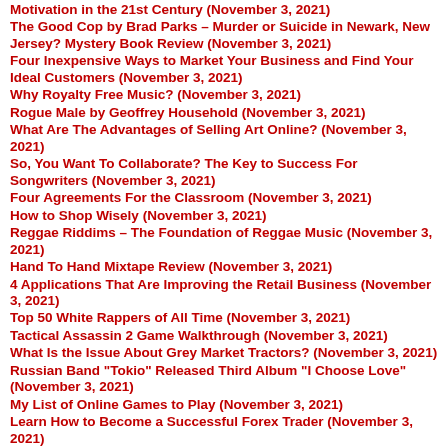Motivation in the 21st Century (November 3, 2021)
The Good Cop by Brad Parks – Murder or Suicide in Newark, New Jersey? Mystery Book Review (November 3, 2021)
Four Inexpensive Ways to Market Your Business and Find Your Ideal Customers (November 3, 2021)
Why Royalty Free Music? (November 3, 2021)
Rogue Male by Geoffrey Household (November 3, 2021)
What Are The Advantages of Selling Art Online? (November 3, 2021)
So, You Want To Collaborate? The Key to Success For Songwriters (November 3, 2021)
Four Agreements For the Classroom (November 3, 2021)
How to Shop Wisely (November 3, 2021)
Reggae Riddims – The Foundation of Reggae Music (November 3, 2021)
Hand To Hand Mixtape Review (November 3, 2021)
4 Applications That Are Improving the Retail Business (November 3, 2021)
Top 50 White Rappers of All Time (November 3, 2021)
Tactical Assassin 2 Game Walkthrough (November 3, 2021)
What Is the Issue About Grey Market Tractors? (November 3, 2021)
Russian Band "Tokio" Released Third Album "I Choose Love" (November 3, 2021)
My List of Online Games to Play (November 3, 2021)
Learn How to Become a Successful Forex Trader (November 3, 2021)